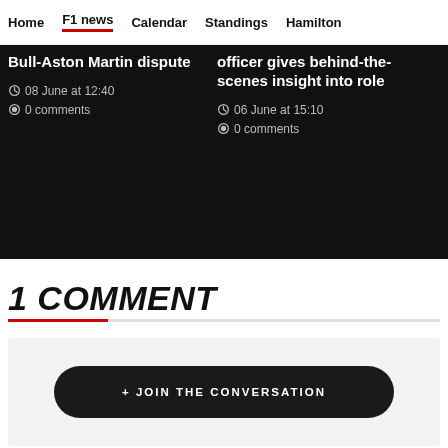Home | F1 news | Calendar | Standings | Hamilton
Bull-Aston Martin dispute
08 June at 12:40
0 comments
officer gives behind-the-scenes insight into role
06 June at 15:10
0 comments
1 COMMENT
+ JOIN THE CONVERSATION